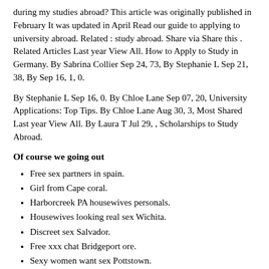during my studies abroad? This article was originally published in February It was updated in April Read our guide to applying to university abroad. Related : study abroad. Share via Share this . Related Articles Last year View All. How to Apply to Study in Germany. By Sabrina Collier Sep 24, 73, By Stephanie L Sep 21, 38, By Sep 16, 1, 0.
By Stephanie L Sep 16, 0. By Chloe Lane Sep 07, 20, University Applications: Top Tips. By Chloe Lane Aug 30, 3, Most Shared Last year View All. By Laura T Jul 29, , Scholarships to Study Abroad.
Of course we going out
Free sex partners in spain.
Girl from Cape coral.
Harborcreek PA housewives personals.
Housewives looking real sex Wichita.
Discreet sex Salvador.
Free xxx chat Bridgeport ore.
Sexy women want sex Pottstown.
Phone sex Deerfield.
Love in leyburn.
Adult searching sex Morgantown.
Sex personals NV Reno 89523.